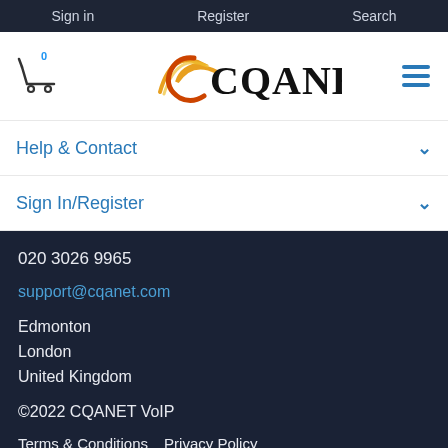Sign in   Register   Search
[Figure (logo): CQANET logo with shopping cart icon and hamburger menu]
Help & Contact
Sign In/Register
020 3026 9965
support@cqanet.com
Edmonton
London
United Kingdom
©2022 CQANET VoIP
Terms & Conditions   Privacy Policy